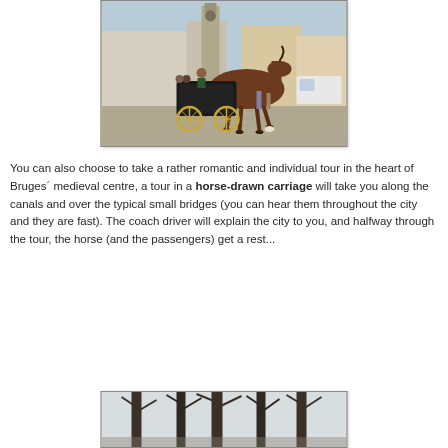[Figure (photo): A horse-drawn carriage in a cobblestone square in Bruges, Belgium. A brown horse pulls a black carriage with wooden spoked wheels. The coachman sits at the front. Passengers are seated in the carriage. Historic medieval buildings and a clock tower are visible in the background.]
You can also choose to take a rather romantic and individual tour in the heart of Bruges´ medieval centre, a tour in a horse-drawn carriage will take you along the canals and over the typical small bridges (you can hear them throughout the city and they are fast). The coach driver will explain the city to you, and halfway through the tour, the horse (and the passengers) get a rest...
[Figure (photo): A winter scene with bare tree trunks in the foreground, partially cut off at the bottom of the page.]